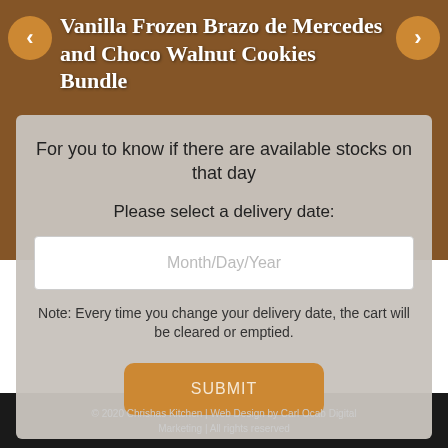Vanilla Frozen Brazo de Mercedes and Choco Walnut Cookies Bundle
For you to know if there are available stocks on that day
Please select a delivery date:
Month/Day/Year
Note: Every time you change your delivery date, the cart will be cleared or emptied.
SUBMIT
© 2020 Chrishas Kitchen | Web Design by Carl Ocab Digital Marketing | All rights reserved